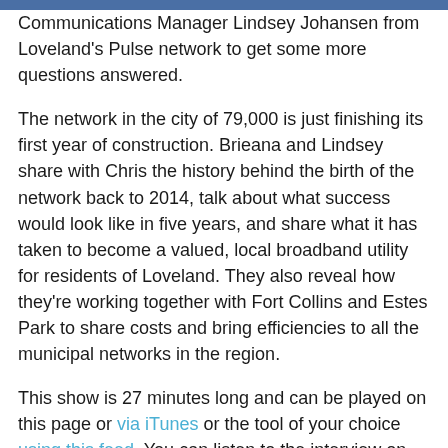Communications Manager Lindsey Johansen from Loveland's Pulse network to get some more questions answered.
The network in the city of 79,000 is just finishing its first year of construction. Brieana and Lindsey share with Chris the history behind the birth of the network back to 2014, talk about what success would look like in five years, and share what it has taken to become a valued, local broadband utility for residents of Loveland. They also reveal how they're working together with Fort Collins and Estes Park to share costs and bring efficiencies to all the municipal networks in the region.
This show is 27 minutes long and can be played on this page or via iTunes or the tool of your choice using this feed. You can listen to the interview on this page or visit the Community Broadband Bits page.